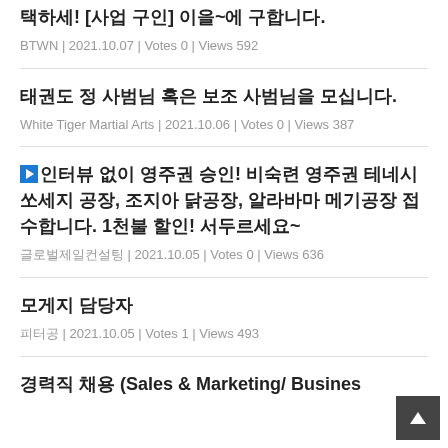택하세! [사업 구인] 이을~에 구합니다.
태권도 정 사범님 혹은 보조 사범님을 모십니다.
▶인터뷰 없이 영주권 승인! 비숙련 영주권 테네시 쏘세지 공장, 조지아 닭공장, 알라바마 메기공장 접수합니다. 1천불 할인! 서두르세요~
모게지 담당자
경력직 채용 (Sales & Marketing/ Busines